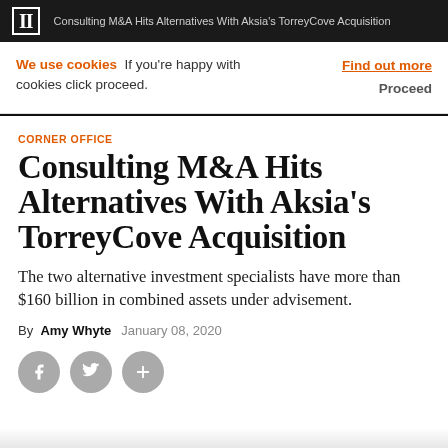II  Consulting M&A Hits Alternatives With Aksia's TorreyCove Acquisition
We use cookies  If you're happy with cookies click proceed.  Find out more  Proceed
CORNER OFFICE
Consulting M&A Hits Alternatives With Aksia's TorreyCove Acquisition
The two alternative investment specialists have more than $160 billion in combined assets under advisement.
By  Amy Whyte   January 08, 2020